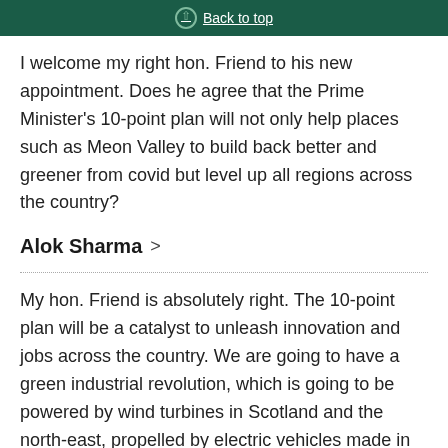Back to top
I welcome my right hon. Friend to his new appointment. Does he agree that the Prime Minister's 10-point plan will not only help places such as Meon Valley to build back better and greener from covid but level up all regions across the country?
Alok Sharma
My hon. Friend is absolutely right. The 10-point plan will be a catalyst to unleash innovation and jobs across the country. We are going to have a green industrial revolution, which is going to be powered by wind turbines in Scotland and the north-east, propelled by electric vehicles made in the midlands